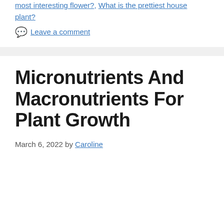most interesting flower?, What is the prettiest house plant?
💬 Leave a comment
Micronutrients And Macronutrients For Plant Growth
March 6, 2022 by Caroline